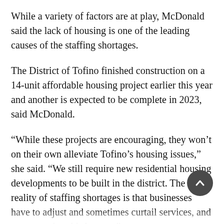While a variety of factors are at play, McDonald said the lack of housing is one of the leading causes of the staffing shortages.
The District of Tofino finished construction on a 14-unit affordable housing project earlier this year and another is expected to be complete in 2023, said McDonald.
“While these projects are encouraging, they won’t on their own alleviate Tofino’s housing issues,” she said. “We still require new residential housing developments to be built in the district. The reality of staffing shortages is that businesses have to adjust and sometimes curtail services, and we are seeing this happen.”
Despite continuing to wear her mask when the art gallery gets busy and trying to protect family members with asthma